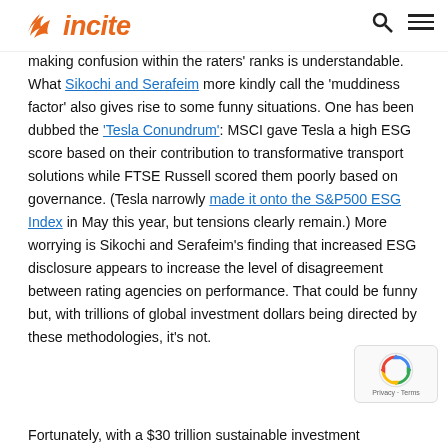Incite [logo with bird icon, search icon, menu icon]
making confusion within the raters' ranks is understandable. What Sikochi and Serafeim more kindly call the 'muddiness factor' also gives rise to some funny situations. One has been dubbed the 'Tesla Conundrum': MSCI gave Tesla a high ESG score based on their contribution to transformative transport solutions while FTSE Russell scored them poorly based on governance. (Tesla narrowly made it onto the S&P500 ESG Index in May this year, but tensions clearly remain.) More worrying is Sikochi and Serafeim's finding that increased ESG disclosure appears to increase the level of disagreement between rating agencies on performance. That could be funny but, with trillions of global investment dollars being directed by these methodologies, it's not.
Fortunately, with a $30 trillion sustainable investment